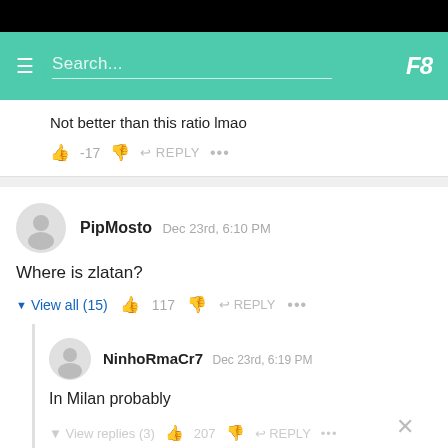[Figure (screenshot): Mobile app header with hamburger menu, search bar, and logo on green background]
Not better than this ratio lmao
👍 -17 👎 ↩ REPLY ...
PipMosto  Dec 23rd, 6:10 PM
Where is zlatan?
▾ View all (15)  👍 117  👎  ↩ REPLY  ...
NinhoRmaCr7  Dec 23rd, 6:19 PM
In Milan probably
▾ View replies (3)  👍 207  👎  ↩ REPLY  ...